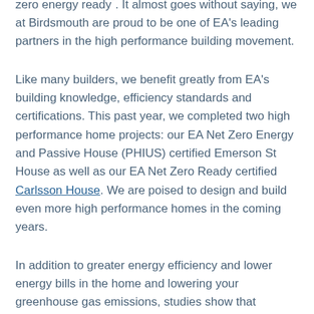zero energy ready*. It almost goes without saying, we at Birdsmouth are proud to be one of EA's leading partners in the high performance building movement.
Like many builders, we benefit greatly from EA's building knowledge, efficiency standards and certifications. This past year, we completed two high performance home projects: our EA Net Zero Energy and Passive House (PHIUS) certified Emerson St House as well as our EA Net Zero Ready certified Carlsson House. We are poised to design and build even more high performance homes in the coming years.
In addition to greater energy efficiency and lower energy bills in the home and lowering your greenhouse gas emissions, studies show that buildings with green certifications have a higher resale value than non certified comparable homes. Ask us about the following standards and certifications for your next project: